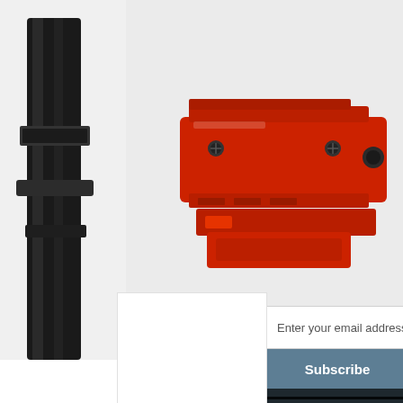[Figure (photo): Product photo of a red firearm accessory/adapter component with screws, alongside a black tactical strap/sling, on a light gray background.]
[Figure (photo): Military soldiers in camouflage gear aiming rifles, used as newsletter promotional banner background.]
SAVE ON YOUR FIRST O
SIGN UP FOR OUR NEWSLETTER BELOW, AND SAVE $20 OFF YOU
Enter your email address
Subscribe